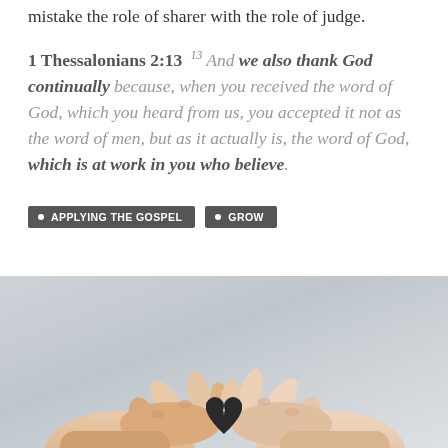mistake the role of sharer with the role of judge.
1 Thessalonians 2:13  13 And we also thank God continually because, when you received the word of God, which you heard from us, you accepted it not as the word of men, but as it actually is, the word of God, which is at work in you who believe.
APPLYING THE GOSPEL
GROW
[Figure (photo): Two hands holding a small black paper heart cutout between them, against a light gray background.]